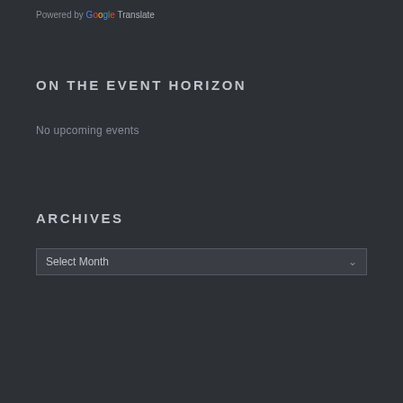Powered by Google Translate
ON THE EVENT HORIZON
No upcoming events
ARCHIVES
Select Month